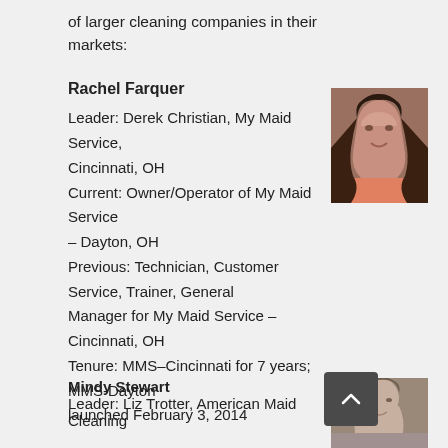of larger cleaning companies in their markets:
Rachel Farquer
Leader: Derek Christian, My Maid Service, Cincinnati, OH
Current: Owner/Operator of My Maid Service – Dayton, OH
Previous: Technician, Customer Service, Trainer, General Manager for My Maid Service – Cincinnati, OH
Tenure: MMS–Cincinnati for 7 years; MMS-Dayton launched February 3, 2014
[Figure (photo): Portrait photo of Rachel Farquer, a woman with dark hair, smiling, wearing a pink top]
Mindy Stewart
Leader: Liz Trotter, American Maid Cleaning
[Figure (photo): Portrait photo of Mindy Stewart, partially visible at bottom right]